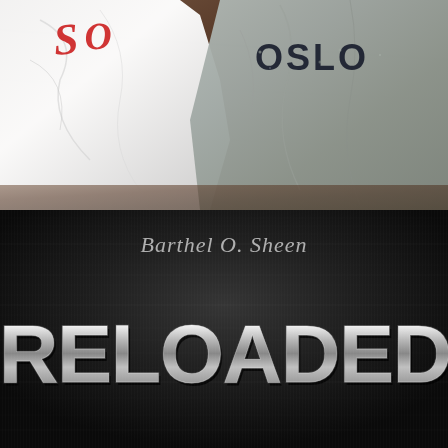[Figure (photo): Top half shows two t-shirts laid on a wooden surface. On the left is a white t-shirt with a red script/logo graphic. On the right is a gray t-shirt with 'OSLO' printed in dark block letters.]
[Figure (illustration): Bottom half has a dark brushed metal / charcoal background with horizontal subtle striations. A cursive signature reading 'Barthel O. Sheen' appears above large chrome/silver 3D block letters spelling 'RELOADED'.]
RELOADED